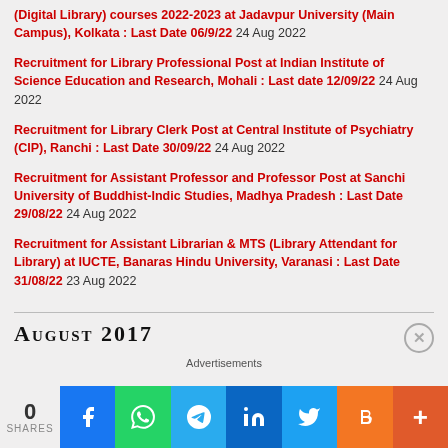(Digital Library) courses 2022-2023 at Jadavpur University (Main Campus), Kolkata : Last Date 06/9/22 24 Aug 2022
Recruitment for Library Professional Post at Indian Institute of Science Education and Research, Mohali : Last date 12/09/22 24 Aug 2022
Recruitment for Library Clerk Post at Central Institute of Psychiatry (CIP), Ranchi : Last Date 30/09/22 24 Aug 2022
Recruitment for Assistant Professor and Professor Post at Sanchi University of Buddhist-Indic Studies, Madhya Pradesh : Last Date 29/08/22 24 Aug 2022
Recruitment for Assistant Librarian & MTS (Library Attendant for Library) at IUCTE, Banaras Hindu University, Varanasi : Last Date 31/08/22 23 Aug 2022
August 2017
Advertisements